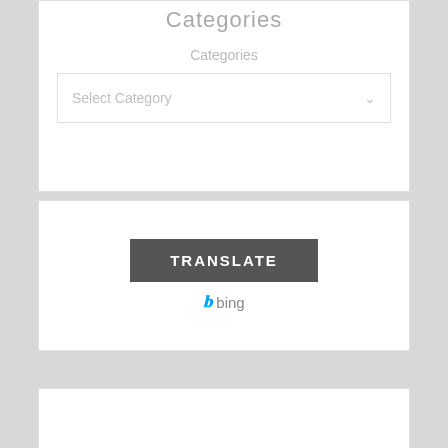Categories
Categories
Select Category
[Figure (screenshot): Bing Translate widget showing a dark grey TRANSLATE button with Bing logo below it]
TRANSLATE
bing